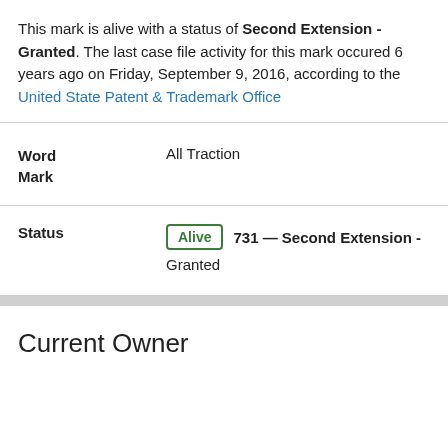This mark is alive with a status of Second Extension - Granted. The last case file activity for this mark occured 6 years ago on Friday, September 9, 2016, according to the United State Patent & Trademark Office
| Word Mark | All Traction |
| Status | Alive 731 — Second Extension - Granted |
Current Owner